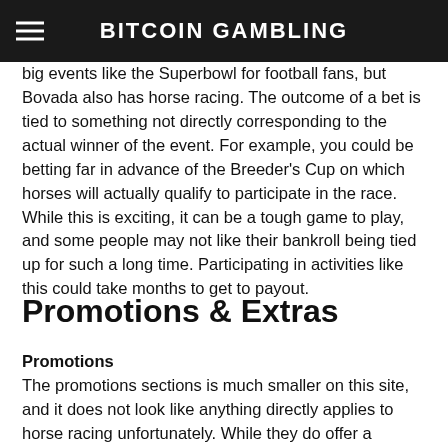BITCOIN GAMBLING
big events like the Superbowl for football fans, but Bovada also has horse racing. The outcome of a bet is tied to something not directly corresponding to the actual winner of the event. For example, you could be betting far in advance of the Breeder's Cup on which horses will actually qualify to participate in the race. While this is exciting, it can be a tough game to play, and some people may not like their bankroll being tied up for such a long time. Participating in activities like this could take months to get to payout.
Promotions & Extras
Promotions
The promotions sections is much smaller on this site, and it does not look like anything directly applies to horse racing unfortunately. While they do offer a cryptocurrency deposit bonus, it seems to only be useful for other betting areas. If you are interested in placing bets on other sports like